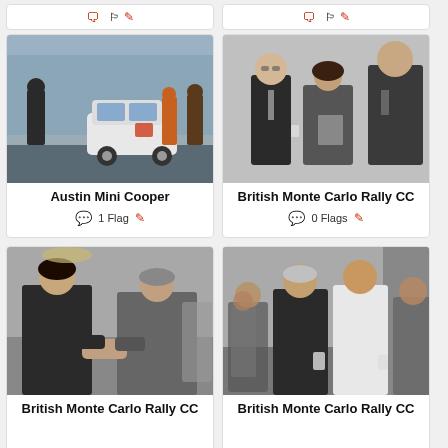[Figure (photo): Partial top strip showing meta icons from previous cards]
[Figure (photo): Color photo of Austin Mini Cooper rally car on snowy street with people standing around]
Austin Mini Cooper
1 Flag
[Figure (photo): Black and white photo of three people in formal attire at an event, British Monte Carlo Rally CC]
British Monte Carlo Rally CC
0 Flags
[Figure (photo): Black and white photo of two men shaking hands at an event, British Monte Carlo Rally CC]
British Monte Carlo Rally CC
[Figure (photo): Black and white photo of group of men socializing at an event, British Monte Carlo Rally CC]
British Monte Carlo Rally CC